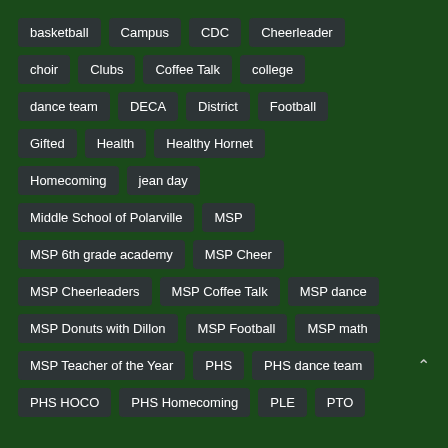basketball
Campus
CDC
Cheerleader
choir
Clubs
Coffee Talk
college
dance team
DECA
District
Football
Gifted
Health
Healthy Hornet
Homecoming
jean day
Middle School of Polarville
MSP
MSP 6th grade academy
MSP Cheer
MSP Cheerleaders
MSP Coffee Talk
MSP dance
MSP Donuts with Dillon
MSP Football
MSP math
MSP Teacher of the Year
PHS
PHS dance team
PHS HOCO
PHS Homecoming
PLE
PTO